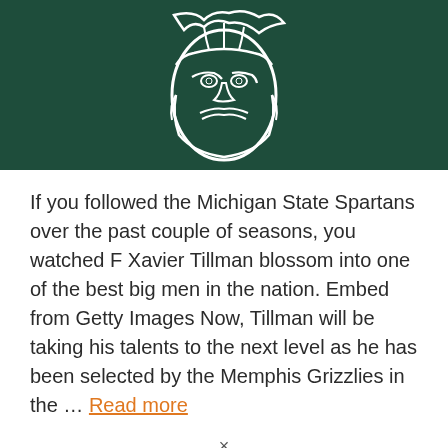[Figure (logo): Michigan State Spartans logo — white Spartan helmet/face outline on dark green background]
If you followed the Michigan State Spartans over the past couple of seasons, you watched F Xavier Tillman blossom into one of the best big men in the nation. Embed from Getty Images Now, Tillman will be taking his talents to the next level as he has been selected by the Memphis Grizzlies in the … Read more